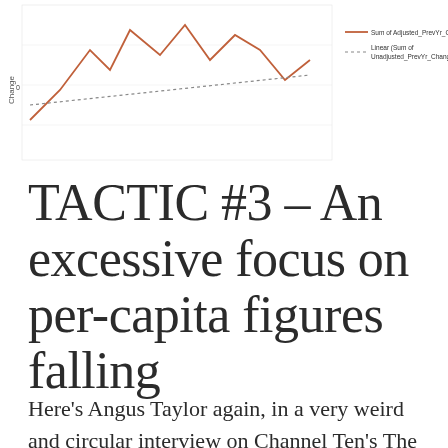[Figure (continuous-plot): Partial view of a line chart showing 'Sum of Adjusted_PrevYr_Change' (solid orange line) and 'Linear (Sum of Unadjusted_PrevYr_Change)' (dotted line), with y-axis label 'Change' visible. The chart is cropped at the top of the page.]
TACTIC #3 – An excessive focus on per-capita figures falling
Here's Angus Taylor again, in a very weird and circular interview on Channel Ten's The Project,